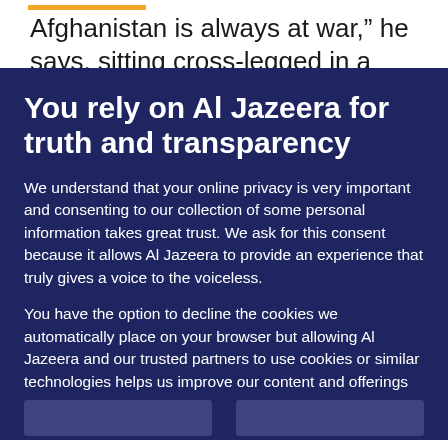Afghanistan is always at war," he says, sitting cross-legged in a rehearsal room. "We want
You rely on Al Jazeera for truth and transparency
We understand that your online privacy is very important and consenting to our collection of some personal information takes great trust. We ask for this consent because it allows Al Jazeera to provide an experience that truly gives a voice to the voiceless.
You have the option to decline the cookies we automatically place on your browser but allowing Al Jazeera and our trusted partners to use cookies or similar technologies helps us improve our content and offerings to you. You can change your privacy preferences at any time by selecting ‘Cookie preferences’ at the bottom of your screen. To learn more, please view our Cookie Policy.